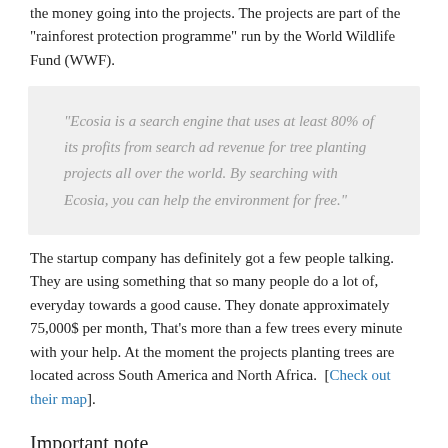the money going into the projects. The projects are part of the "rainforest protection programme" run by the World Wildlife Fund (WWF).
"Ecosia is a search engine that uses at least 80% of its profits from search ad revenue for tree planting projects all over the world. By searching with Ecosia, you can help the environment for free."
The startup company has definitely got a few people talking. They are using something that so many people do a lot of, everyday towards a good cause. They donate approximately 75,000$ per month, That's more than a few trees every minute with your help. At the moment the projects planting trees are located across South America and North Africa.  [Check out their map].
Important note
We are not (yet!) suggesting that Ecosia is the the most ecologically sound of